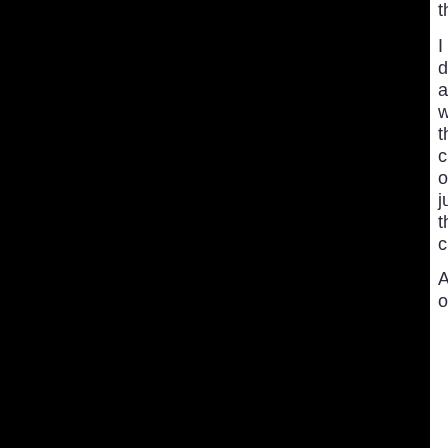the first place?

I mean, at what point doe blind denial cease and the cumulative weight of evidence win the day?  Not cherrypicking two pieces of evidence and the judges refusing to hear the rest.  I mean cumulatively "" all of it.

And cumulatively is the only way to